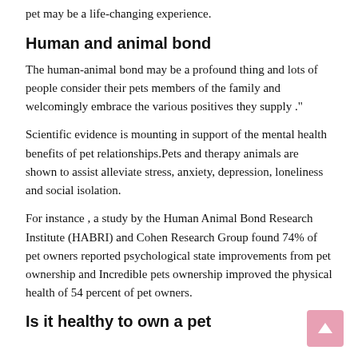pet may be a life-changing experience.
Human and animal bond
The human-animal bond may be a profound thing and lots of people consider their pets members of the family and welcomingly embrace the various positives they supply."
Scientific evidence is mounting in support of the mental health benefits of pet relationships.Pets and therapy animals are shown to assist alleviate stress, anxiety, depression, loneliness and social isolation.
For instance , a study by the Human Animal Bond Research Institute (HABRI) and Cohen Research Group found 74% of pet owners reported psychological state improvements from pet ownership and Incredible pets ownership improved the physical health of 54 percent of pet owners.
Is it healthy to own a pet